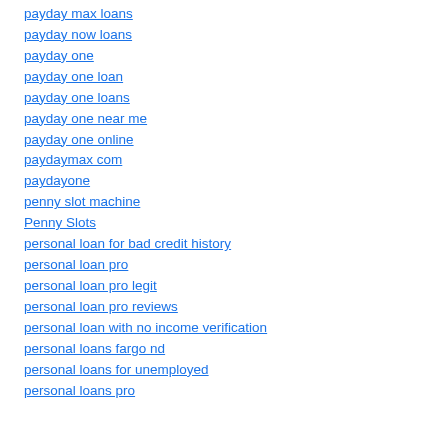payday max loans
payday now loans
payday one
payday one loan
payday one loans
payday one near me
payday one online
paydaymax com
paydayone
penny slot machine
Penny Slots
personal loan for bad credit history
personal loan pro
personal loan pro legit
personal loan pro reviews
personal loan with no income verification
personal loans fargo nd
personal loans for unemployed
personal loans pro